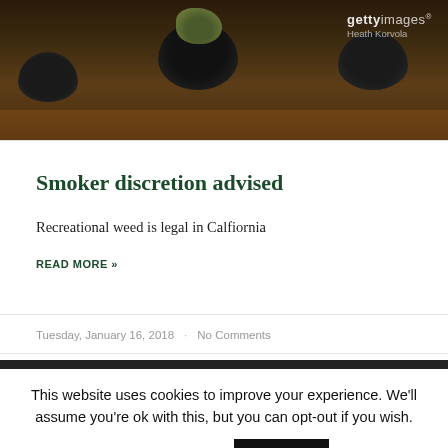[Figure (photo): Photo of marijuana buds in dark ceramic bowls on a wooden tray, with Getty Images watermark and photographer credit 'Heath Korvola']
Smoker discretion advised
Recreational weed is legal in Calfiornia
READ MORE »
Tuesday, January 16, 2018 · No Comments
This website uses cookies to improve your experience. We'll assume you're ok with this, but you can opt-out if you wish. Cookie settings ACCEPT